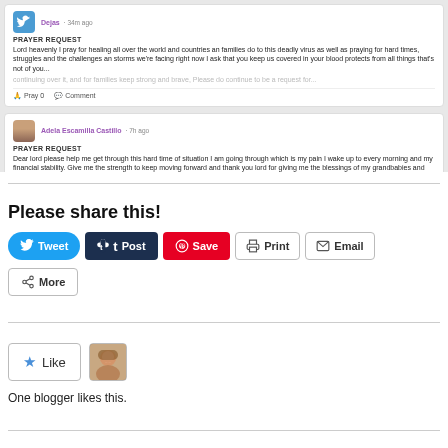[Figure (screenshot): Screenshot of a prayer app showing two prayer request posts: one by 'Dejas' 34 minutes ago and one by 'Adela Escamilla Castillo' 7 hours ago, each with Pray and Comment action buttons.]
Please share this!
[Figure (infographic): Social sharing buttons: Tweet (blue, rounded), Post (dark navy, Tumblr), Save (red, Pinterest), Print (outlined), Email (outlined), More (outlined with share icon)]
[Figure (infographic): Like button with star icon, followed by a blogger avatar thumbnail]
One blogger likes this.